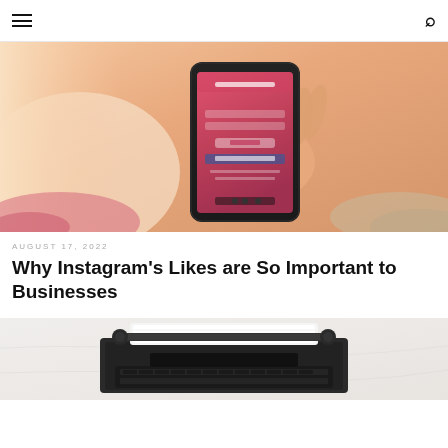≡  🔍
[Figure (photo): A person's hand holding a smartphone displaying a pink/red Instagram-like login screen, lying back on a bed with floral/lace fabric visible in the background.]
AUGUST 17, 2022
Why Instagram's Likes are So Important to Businesses
[Figure (photo): A vintage typewriter with white paper inserted, viewed from the front, on a light marble surface. Partially visible at the bottom of the page.]